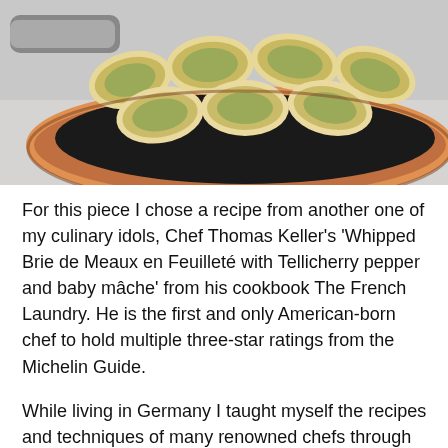[Figure (photo): A copper pan containing sliced bread rounds topped with green herb butter or pesto, photographed from above at an angle on a light gray surface. The pan has a silver handle visible at the top left.]
For this piece I chose a recipe from another one of my culinary idols, Chef Thomas Keller's 'Whipped Brie de Meaux en Feuilleté with Tellicherry pepper and baby mâche' from his cookbook The French Laundry. He is the first and only American-born chef to hold multiple three-star ratings from the Michelin Guide.
While living in Germany I taught myself the recipes and techniques of many renowned chefs through studying their cookbooks in a kitchen the size of a closet, cooking each